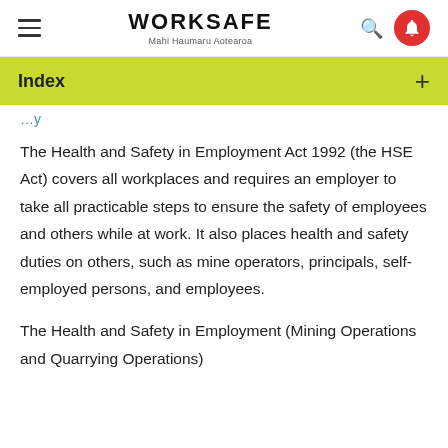WORKSAFE Mahi Haumaru Aotearoa
Index
The Health and Safety in Employment Act 1992 (the HSE Act) covers all workplaces and requires an employer to take all practicable steps to ensure the safety of employees and others while at work. It also places health and safety duties on others, such as mine operators, principals, self-employed persons, and employees.
The Health and Safety in Employment (Mining Operations and Quarrying Operations)